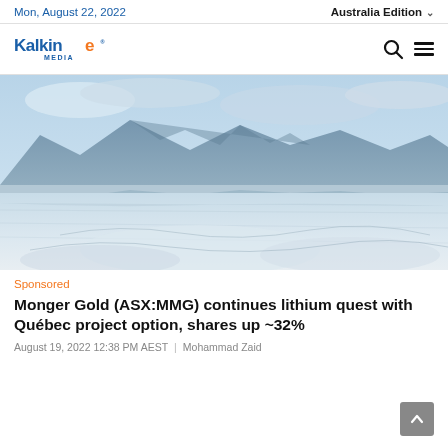Mon, August 22, 2022 | Australia Edition
[Figure (logo): Kalkine Media logo — blue and orange stylized lettering with registered trademark]
[Figure (photo): Landscape photo of a salt flat with mountains in the background reflected in shallow water, light blue sky and white salt deposits in the foreground]
Sponsored
Monger Gold (ASX:MMG) continues lithium quest with Québec project option, shares up ~32%
August 19, 2022 12:38 PM AEST | Mohammad Zaid